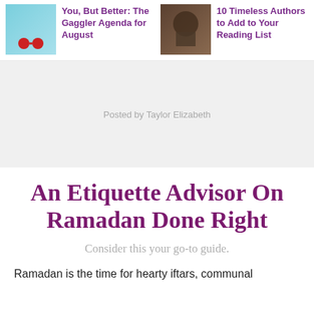You, But Better: The Gaggler Agenda for August
10 Timeless Authors to Add to Your Reading List
[Figure (photo): Thumbnail image of a pool with red sunglasses]
[Figure (photo): Thumbnail image of a person reading outdoors in nature]
Posted by Taylor Elizabeth
An Etiquette Advisor On Ramadan Done Right
Consider this your go-to guide.
Ramadan is the time for hearty iftars, communal